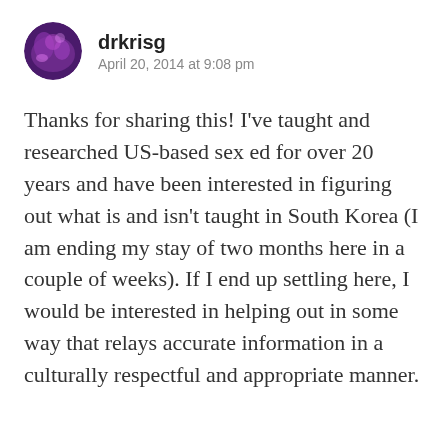[Figure (photo): Circular avatar photo of user drkrisg showing a purple-toned concert/event scene]
drkrisg
April 20, 2014 at 9:08 pm
Thanks for sharing this! I've taught and researched US-based sex ed for over 20 years and have been interested in figuring out what is and isn't taught in South Korea (I am ending my stay of two months here in a couple of weeks). If I end up settling here, I would be interested in helping out in some way that relays accurate information in a culturally respectful and appropriate manner.